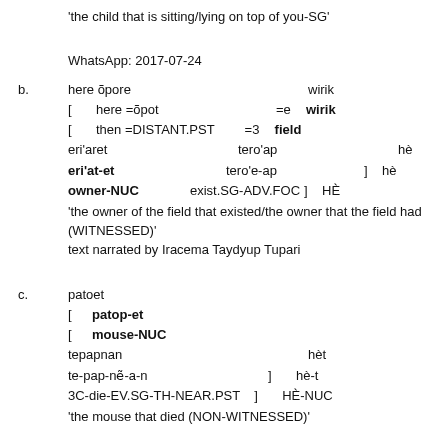'the child that is sitting/lying on top of you-SG'
WhatsApp: 2017-07-24
b. here õpore   wirik
[   here =õpot   =e   wirik
[   then =DISTANT.PST   =3   field
eri'aret   tero'ap   hè
eri'at-et   tero'e-ap   ]   hè
owner-NUC   exist.SG-ADV.FOC   ]   HÈ
'the owner of the field that existed/the owner that the field had (WITNESSED)'
text narrated by Iracema Taydyup Tupari
c. patoet
[   patop-et
[   mouse-NUC
tepapnan   hèt
te-pap-nẽ-a-n   ]   hè-t
3C-die-EV.SG-TH-NEAR.PST   ]   HÈ-NUC
'the mouse that died (NON-WITNESSED)'